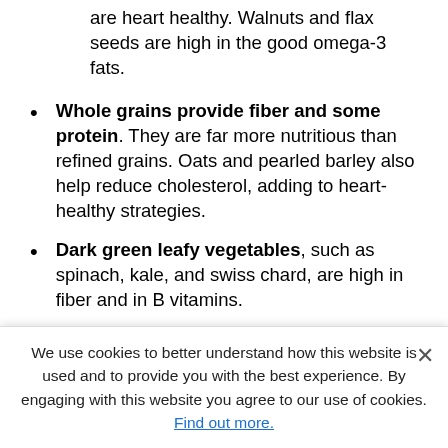are heart healthy. Walnuts and flax seeds are high in the good omega-3 fats.
Whole grains provide fiber and some protein. They are far more nutritious than refined grains. Oats and pearled barley also help reduce cholesterol, adding to heart-healthy strategies.
Dark green leafy vegetables, such as spinach, kale, and swiss chard, are high in fiber and in B vitamins.
Other nonstarchy vegetables, such as carrots, broccoli, and green beans, provide assorted vitamins and minerals.
Citrus fruits, such as oranges and grapefruit, are high in vitamin C.
Tomatoes are also part of the citrus family and are high in...
Berries and apples have fruit sugar, but they also have fiber. Berries also include vitamins and...
We use cookies to better understand how this website is used and to provide you with the best experience. By engaging with this website you agree to our use of cookies. Find out more.